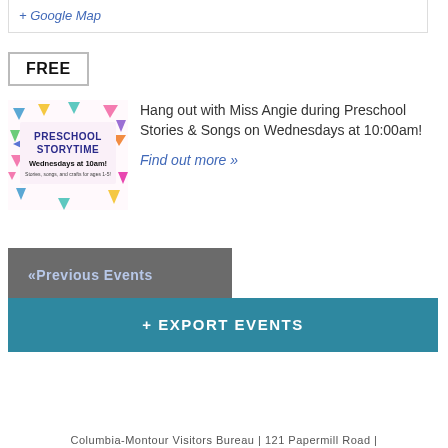+ Google Map
FREE
[Figure (illustration): Preschool Storytime event flyer with colorful triangles, text reading 'PRESCHOOL STORYTIME Wednesdays at 10am! Stories, songs, and crafts for ages 1-5!']
Hang out with Miss Angie during Preschool Stories & Songs on Wednesdays at 10:00am!
Find out more »
«Previous Events
+ EXPORT EVENTS
Columbia-Montour Visitors Bureau | 121 Papermill Road |